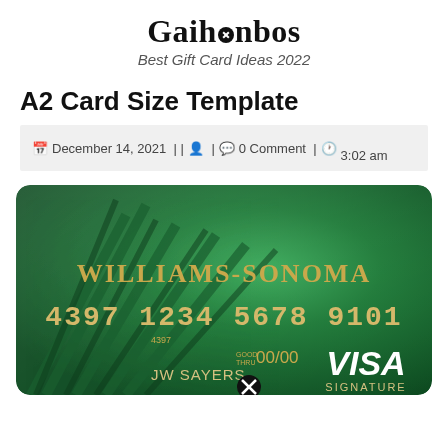Gaihanbos — Best Gift Card Ideas 2022
A2 Card Size Template
December 14, 2021 | | | 0 Comment | 3:02 am
[Figure (photo): Williams-Sonoma Visa Signature credit card in green with card number 4397 1234 5678 9101, cardholder JW Sayers, expiry 00/00]